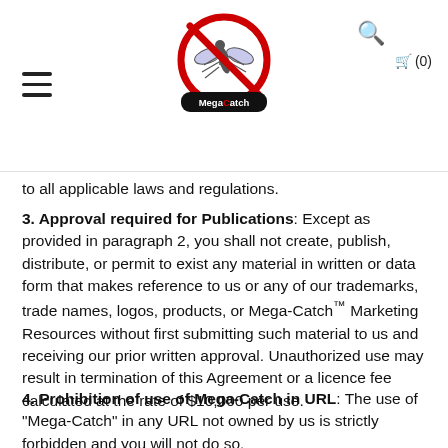Mega-Catch logo header with navigation (hamburger menu, search icon, cart icon showing 0 items)
to all applicable laws and regulations.
3. Approval required for Publications: Except as provided in paragraph 2, you shall not create, publish, distribute, or permit to exist any material in written or data form that makes reference to us or any of our trademarks, trade names, logos, products, or Mega-Catch™ Marketing Resources without first submitting such material to us and receiving our prior written approval. Unauthorized use may result in termination of this Agreement or a licence fee calculated at the rate of $10,000 per use.
4. Prohibition of use of Mega-Catch in URL: The use of "Mega-Catch" in any URL not owned by us is strictly forbidden and you will not do so.